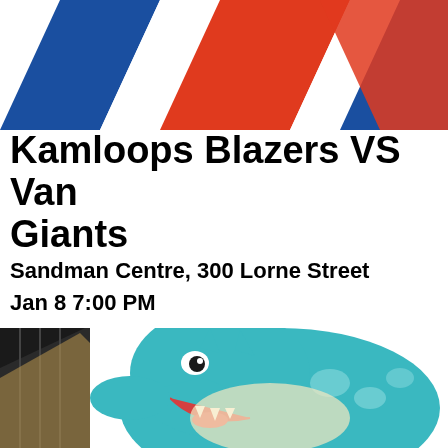[Figure (illustration): Kamloops Blazers team logo with diagonal red, white, and blue stripes in the upper portion of the image]
Kamloops Blazers VS Van Giants
Sandman Centre, 300 Lorne Street
Jan 8 7:00 PM
[Figure (illustration): Vancouver Giants mascot — a cartoon teal/blue dragon-like giant holding a hockey stick, with an aggressive open-mouthed expression, wearing teal hockey gear]